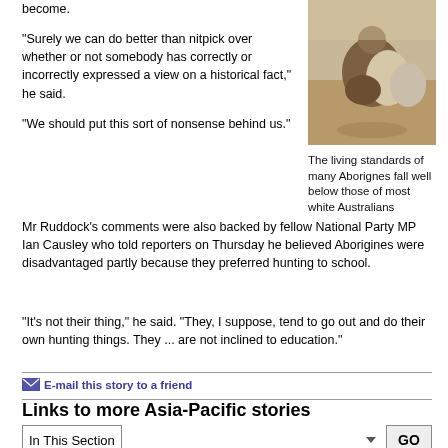become.
"Surely we can do better than nitpick over whether or not somebody has correctly or incorrectly expressed a view on a historical fact," he said.
[Figure (photo): A person crouching outdoors, appearing to be in an arid environment.]
The living standards of many Aborignes fall well below those of most white Australians
"We should put this sort of nonsense behind us."
Mr Ruddock's comments were also backed by fellow National Party MP Ian Causley who told reporters on Thursday he believed Aborigines were disadvantaged partly because they preferred hunting to school.
"It's not their thing," he said. "They, I suppose, tend to go out and do their own hunting things. They ... are not inclined to education."
E-mail this story to a friend
Links to more Asia-Pacific stories